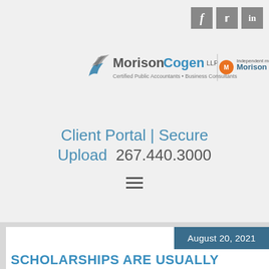[Figure (logo): Social media icons: Facebook, Twitter, LinkedIn in gray square buttons]
[Figure (logo): MorisonCogen LLP logo — Certified Public Accountants • Business Consultants | Independent member Morison Global]
Client Portal | Secure Upload  267.440.3000
[Figure (other): Hamburger menu icon (three horizontal lines)]
August 20, 2021
SCHOLARSHIPS ARE USUALLY TAX FREE BUT THEY MAY